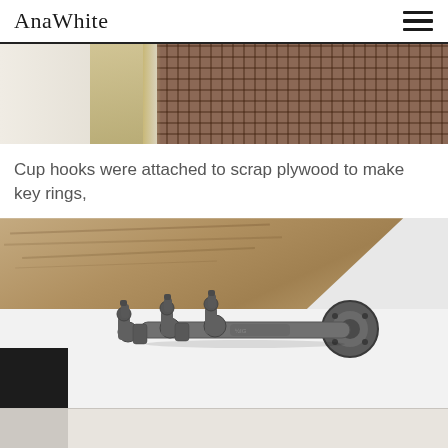AnaWhite
[Figure (photo): Close-up photo of a metal grid/grate structure with wooden elements in the background, part of a DIY mudroom project]
Cup hooks were attached to scrap plywood to make key rings,
[Figure (photo): Close-up photo of industrial black pipe coat hooks mounted on a white wall under a wooden shelf]
[Figure (photo): Partial bottom photo showing gray/white surface]